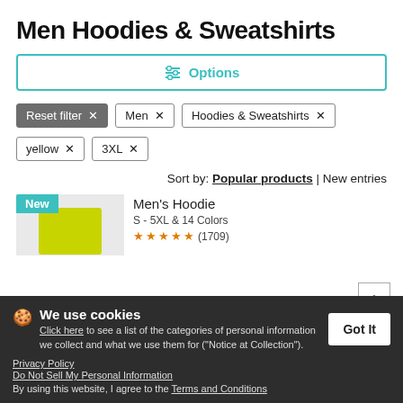Men Hoodies & Sweatshirts
⚙ Options
Reset filter ×  Men ×  Hoodies & Sweatshirts ×
yellow ×  3XL ×
Sort by: Popular products | New entries
New
[Figure (illustration): Yellow hoodie product thumbnail with 'New' badge]
Men's Hoodie
S - 5XL & 14 Colors
★★★★½ (1709)
We use cookies
Click here to see a list of the categories of personal information we collect and what we use them for ("Notice at Collection").
Privacy Policy
Do Not Sell My Personal Information
By using this website, I agree to the Terms and Conditions